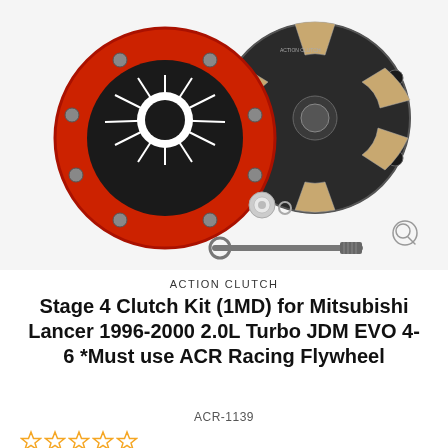[Figure (photo): Product photo of an Action Clutch Stage 4 Clutch Kit showing a red clutch pressure plate assembly on the left, a black 6-puck clutch disc on the right, a small seal/bearing in the center, and an alignment tool at the bottom. All components on a white/light gray background.]
ACTION CLUTCH
Stage 4 Clutch Kit (1MD) for Mitsubishi Lancer 1996-2000 2.0L Turbo JDM EVO 4-6 *Must use ACR Racing Flywheel
ACR-1139
[Figure (other): Five empty/outline gold star rating icons at the bottom left of the page]